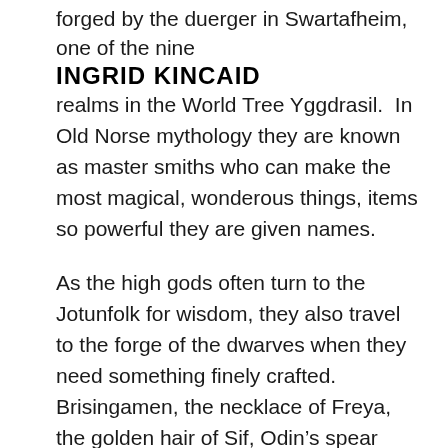INGRID KINCAID
forged by the duerger in Swartafheim, one of the nine realms in the World Tree Yggdrasil.  In Old Norse mythology they are known as master smiths who can make the most magical, wonderous things, items so powerful they are given names.
As the high gods often turn to the Jotunfolk for wisdom, they also travel to the forge of the dwarves when they need something finely crafted. Brisingamen, the necklace of Freya, the golden hair of Sif, Odin's spear Gungnir, the ring of Draupnir, Thor's hammer, golden bristled boars and the chain that binds the great wolf.
If the high gods have the power to speak things into existence then why do they seek the forge of the